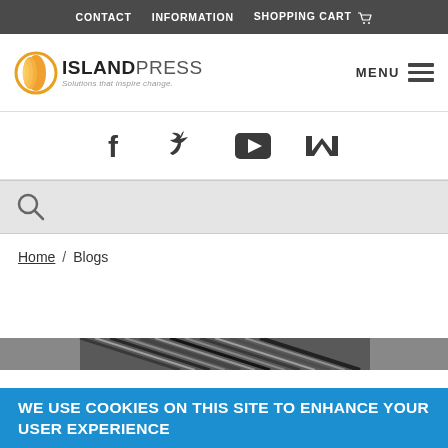CONTACT   INFORMATION   SHOPPING CART
[Figure (logo): Island Press logo with orange circle and text 'ISLANDPRESS Solutions that inspire change.']
[Figure (illustration): Social media icons: Facebook, Twitter, YouTube, Medium]
[Figure (illustration): Search bar with magnifying glass icon]
Home / Blogs
[Figure (photo): Partial image of a book or graphic with diagonal lines pattern]
WE USE COOKIES ON THIS SITE TO ENHANCE YOUR USER EXPERIENCE